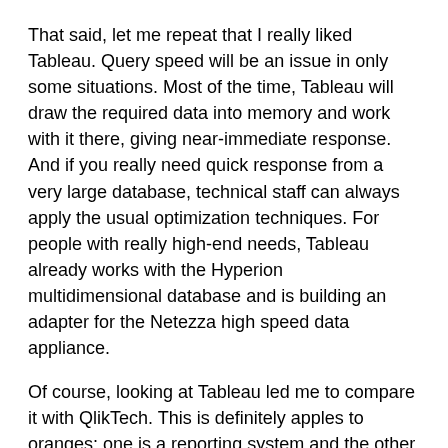That said, let me repeat that I really liked Tableau. Query speed will be an issue in only some situations. Most of the time, Tableau will draw the required data into memory and work with it there, giving near-immediate response. And if you really need quick response from a very large database, technical staff can always apply the usual optimization techniques. For people with really high-end needs, Tableau already works with the Hyperion multidimensional database and is building an adapter for the Netezza high speed data appliance.
Of course, looking at Tableau led me to compare it with QlikTech. This is definitely apples to oranges: one is a reporting system and the other is a data exploration tool; one has its own database and the other doesn't. I found that with a little tweaking I could get QlikView to produce many of the same charts as Tableau, although it was certainly more work to get there. I'd love to see the Tableau interface connected with the QlikView data engine, but suspect the peculiarities of both systems make this unlikely. (Tableau queries rely on advanced SQL features; QlikView is not a SQL database.) If I